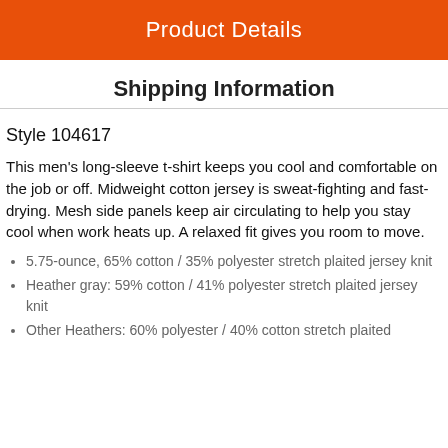Product Details
Shipping Information
Style 104617
This men's long-sleeve t-shirt keeps you cool and comfortable on the job or off. Midweight cotton jersey is sweat-fighting and fast-drying. Mesh side panels keep air circulating to help you stay cool when work heats up. A relaxed fit gives you room to move.
5.75-ounce, 65% cotton / 35% polyester stretch plaited jersey knit
Heather gray: 59% cotton / 41% polyester stretch plaited jersey knit
Other Heathers: 60% polyester / 40% cotton stretch plaited